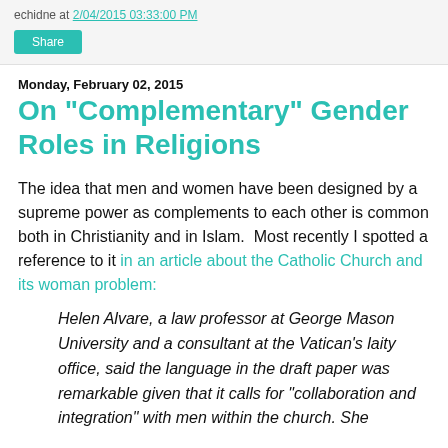echidne at 2/04/2015 03:33:00 PM
Share
Monday, February 02, 2015
On "Complementary" Gender Roles in Religions
The idea that men and women have been designed by a supreme power as complements to each other is common both in Christianity and in Islam.  Most recently I spotted a reference to it in an article about the Catholic Church and its woman problem:
Helen Alvare, a law professor at George Mason University and a consultant at the Vatican's laity office, said the language in the draft paper was remarkable given that it calls for "collaboration and integration" with men within the church. She